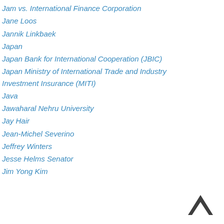Jam vs. International Finance Corporation
Jane Loos
Jannik Linkbaek
Japan
Japan Bank for International Cooperation (JBIC)
Japan Ministry of International Trade and Industry Investment Insurance (MITI)
Java
Jawaharal Nehru University
Jay Hair
Jean-Michel Severino
Jeffrey Winters
Jesse Helms Senator
Jim Yong Kim